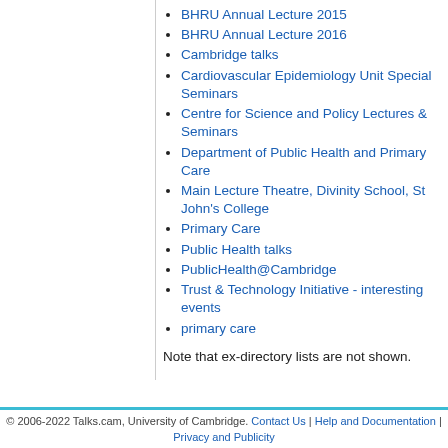BHRU Annual Lecture 2015
BHRU Annual Lecture 2016
Cambridge talks
Cardiovascular Epidemiology Unit Special Seminars
Centre for Science and Policy Lectures & Seminars
Department of Public Health and Primary Care
Main Lecture Theatre, Divinity School, St John's College
Primary Care
Public Health talks
PublicHealth@Cambridge
Trust & Technology Initiative - interesting events
primary care
Note that ex-directory lists are not shown.
© 2006-2022 Talks.cam, University of Cambridge. Contact Us | Help and Documentation | Privacy and Publicity